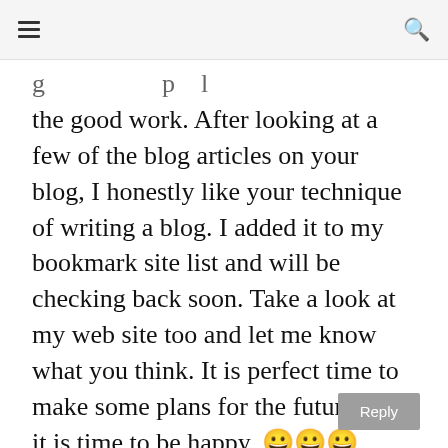[hamburger menu icon] [search icon]
g  p  l the good work. After looking at a few of the blog articles on your blog, I honestly like your technique of writing a blog. I added it to my bookmark site list and will be checking back soon. Take a look at my web site too and let me know what you think. It is perfect time to make some plans for the future and it is time to be happy. 🙂🙂🙂
Reply